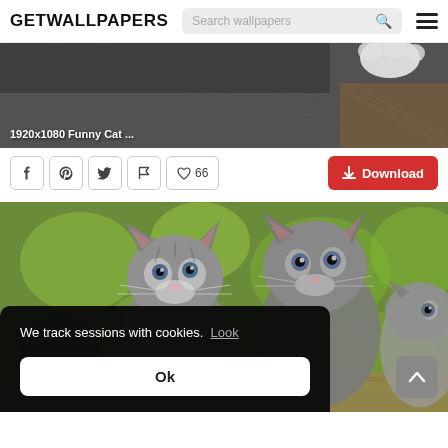GETWALLPAPERS
[Figure (screenshot): Partial view of a cat wallpaper — dark sofa fabric and a white cat paw visible, with overlay text '1920x1080 Funny Cat ...']
1920x1080 Funny Cat ...
♡ 66   Download
[Figure (photo): Two grey tabby kittens sitting outdoors with green bokeh background. A cookie consent banner overlays the lower portion.]
We track sessions with cookies. Look
Ok